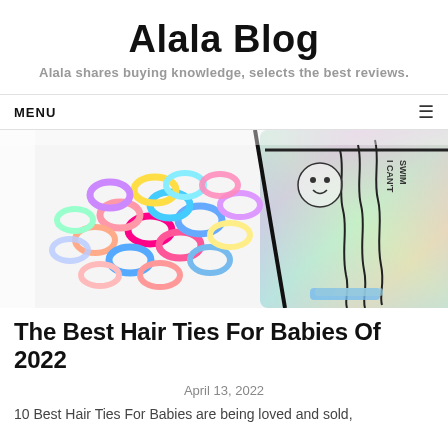Alala Blog
Alala shares buying knowledge, selects the best reviews.
MENU
[Figure (photo): Colorful small hair ties/elastic bands in pastel colors (pink, blue, yellow, purple) piled together next to a holographic zippered pouch with a cartoon character and text 'I CAN'T SWIM'.]
The Best Hair Ties For Babies Of 2022
April 13, 2022
10 Best Hair Ties For Babies are being loved and sold,